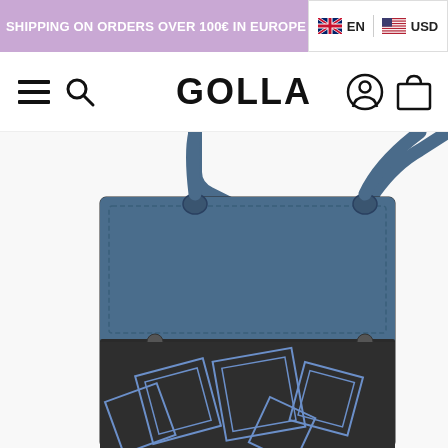SHIPPING ON ORDERS OVER 100€ IN EUROPE - FR
EN  USD
[Figure (logo): GOLLA brand logo in bold black text centered in navigation bar, with hamburger menu and search icon on left, user account and shopping bag icons on right]
[Figure (photo): Blue leather crossbody phone bag with geometric patterned lower body in dark grey/black with blue line art squares and rectangles design, shoulder strap visible at top]